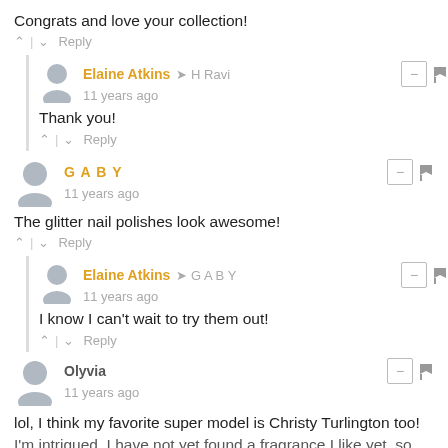Congrats and love your collection!
↑ | ↓  Reply
Elaine Atkins → H Ravi
11 years ago
Thank you!
↑ | ↓  Reply
G A B Y
11 years ago
The glitter nail polishes look awesome!
↑ | ↓  Reply
Elaine Atkins → G A B Y
11 years ago
I know I can't wait to try them out!
↑ | ↓  Reply
Olyvia
11 years ago
lol, I think my favorite super model is Christy Turlington too!
I'm intrigued, I have not yet found a fragrance I like yet, so...